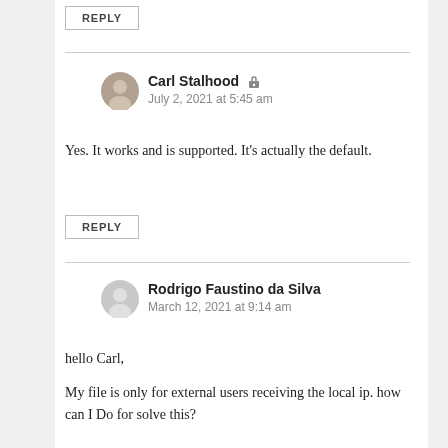REPLY
Carl Stalhood
July 2, 2021 at 5:45 am
Yes. It works and is supported. It's actually the default.
REPLY
Rodrigo Faustino da Silva
March 12, 2021 at 9:14 am
hello Carl,

My file is only for external users receiving the local ip. how can I Do for solve this?